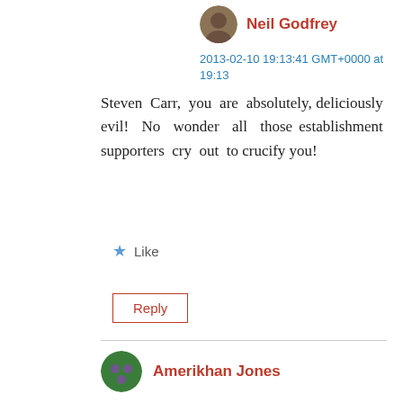Neil Godfrey
2013-02-10 19:13:41 GMT+0000 at 19:13
Steven Carr, you are absolutely, deliciously evil! No wonder all those establishment supporters cry out to crucify you!
Like
Reply
Amerikhan Jones
2013-02-09 15:08:56 GMT+0000 at 15:08
Hoffman has become increasingly shrill, on this question, over the last couple of years